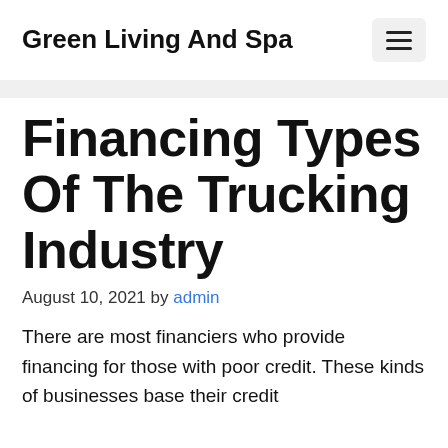Green Living And Spa
Financing Types Of The Trucking Industry
August 10, 2021 by admin
There are most financiers who provide financing for those with poor credit. These kinds of businesses base their credit